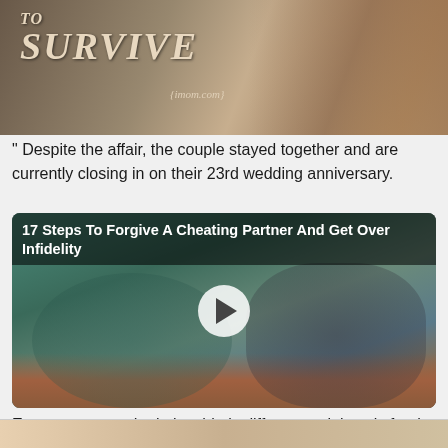[Figure (photo): Top portion of a motivational image with large stylized text reading 'SURVIVE' and '{imom.com}' branding, showing a couple holding hands in background]
" Despite the affair, the couple stayed together and are currently closing in on their 23rd wedding anniversary.
[Figure (photo): Video thumbnail titled '17 Steps To Forgive A Cheating Partner And Get Over Infidelity' showing a man and woman with a play button overlay. A woman in a teal blouse stands with her back to a bearded man in a grey sweater who reaches toward her. Brick wall in background.]
Every person and relationship is different so it is only for the couple to decide whether they can work through their problems so that they trust each other again.